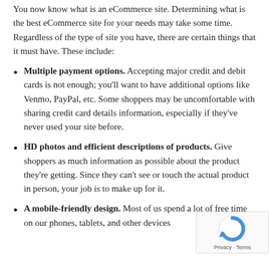You now know what is an eCommerce site. Determining what is the best eCommerce site for your needs may take some time. Regardless of the type of site you have, there are certain things that it must have. These include:
Multiple payment options. Accepting major credit and debit cards is not enough; you'll want to have additional options like Venmo, PayPal, etc. Some shoppers may be uncomfortable with sharing credit card details information, especially if they've never used your site before.
HD photos and efficient descriptions of products. Give shoppers as much information as possible about the product they're getting. Since they can't see or touch the actual product in person, your job is to make up for it.
A mobile-friendly design. Most of us spend a lot of free time on our phones, tablets, and other devices